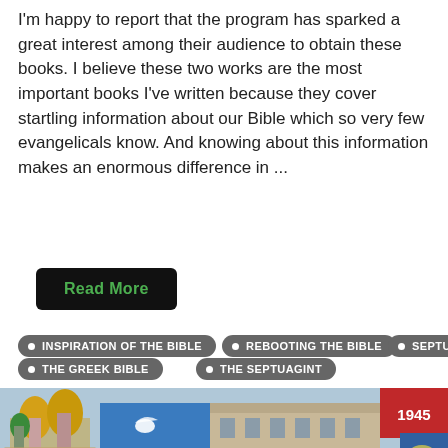I'm happy to report that the program has sparked a great interest among their audience to obtain these books. I believe these two works are the most important books I've written because they cover startling information about our Bible which so very few evangelicals know. And knowing about this information makes an enormous difference in ...
Read More
• INSPIRATION OF THE BIBLE
• REBOOTING THE BIBLE
• SEPTUAGINT
• THE GREEK BIBLE
• THE SEPTUAGINT
[Figure (photo): Photograph of Red Square Moscow showing Orthodox church with golden domes, a large blue billboard with a dove and text 'ПОБЕДА! 70 ЛЕТ', historic GUM building, and a banner with '1945' on a red background]